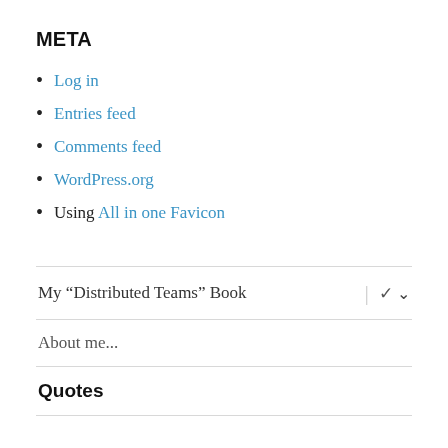META
Log in
Entries feed
Comments feed
WordPress.org
Using All in one Favicon
My “Distributed Teams” Book
About me...
Quotes